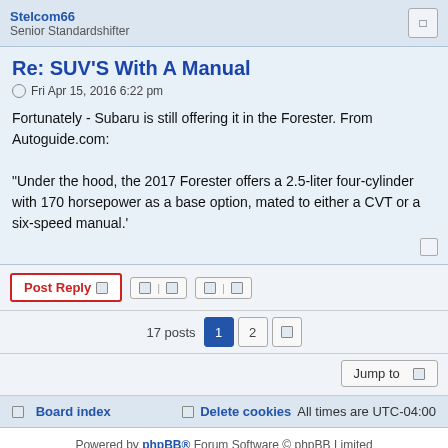Stelcom66
Senior Standardshifter
Re: SUV'S With A Manual
Fri Apr 15, 2016 6:22 pm
Fortunately - Subaru is still offering it in the Forester. From Autoguide.com:

"Under the hood, the 2017 Forester offers a 2.5-liter four-cylinder with 170 horsepower as a base option, mated to either a CVT or a six-speed manual.'
Post Reply | 17 posts 1 2 | Jump to
Board index | Delete cookies All times are UTC-04:00
Powered by phpBB® Forum Software © phpBB Limited
Privacy | Terms